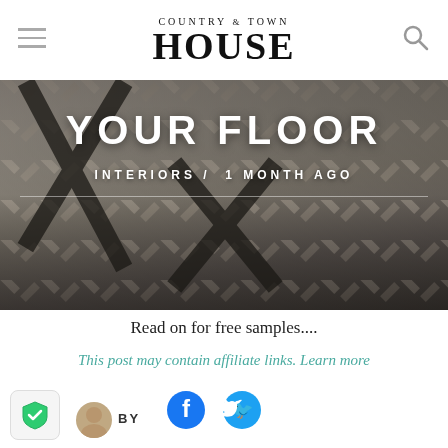COUNTRY & TOWN HOUSE
[Figure (photo): Hero banner image of a herringbone wood floor with black metal table legs, overlaid with text 'YOUR FLOOR' and category/date 'INTERIORS / 1 MONTH AGO']
YOUR FLOOR
INTERIORS /  1 MONTH AGO
Read on for free samples....
This post may contain affiliate links. Learn more
[Figure (illustration): Facebook and Twitter social share icons]
[Figure (illustration): Green shield security badge icon]
BY